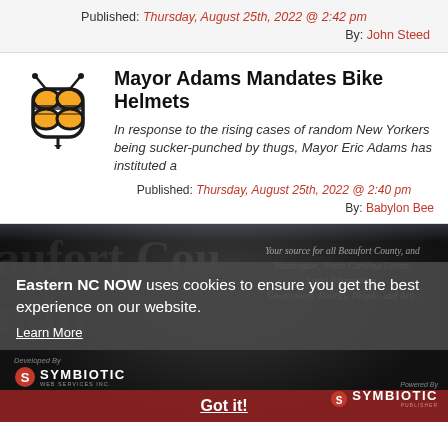Published: Thursday, August 25th, 2022 @ 2:42 pm
By: John Steed
Mayor Adams Mandates Bike Helmets
In response to the rising cases of random New Yorkers being sucker-punched by thugs, Mayor Eric Adams has instituted a
Published: Thursday, August 25th, 2022 @ 2:40 pm
By: Babylon Bee
[Figure (screenshot): Eastern NC NOW website banner with cookie consent overlay. Banner shows watermark text 'Beaufort Cou...' and tagline 'Your source for all Beaufort County, and Washington, North Carolina Events, Local Information, Government, Politics, People, and Arts.' A dark semi-transparent overlay reads 'Eastern NC NOW uses cookies to ensure you get the best experience on our website.' with a 'Learn More' link and 'Got it!' button. Symbiotic developer/publisher logos are visible.]